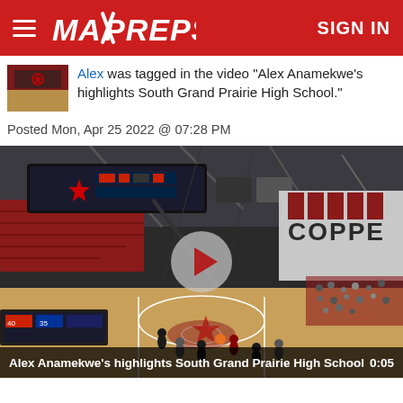MaxPreps – SIGN IN
Alex was tagged in the video "Alex Anamekwe's highlights South Grand Prairie High School."
Posted Mon, Apr 25 2022 @ 07:28 PM
[Figure (screenshot): Basketball arena video thumbnail showing a high school basketball game at Coppell arena with a large scoreboard, red seats, and players on the court. A play button is overlaid in the center.]
Alex Anamekwe's highlights South Grand Prairie High School  0:05